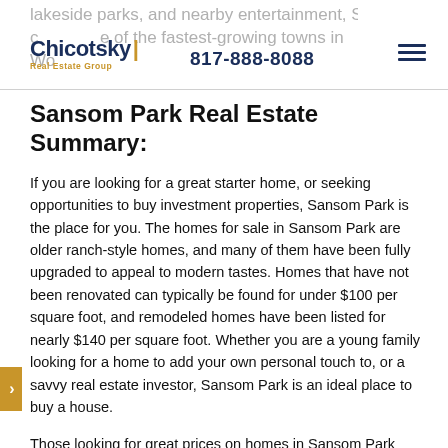lakeside parks, and nearby entertainment, Sansom Park could be one of the fastest-growing towns in Fort Worth. Chicotsky Real Estate Group | 817-888-8088
Sansom Park Real Estate Summary:
If you are looking for a great starter home, or seeking opportunities to buy investment properties, Sansom Park is the place for you. The homes for sale in Sansom Park are older ranch-style homes, and many of them have been fully upgraded to appeal to modern tastes. Homes that have not been renovated can typically be found for under $100 per square foot, and remodeled homes have been listed for nearly $140 per square foot. Whether you are a young family looking for a home to add your own personal touch to, or a savvy real estate investor, Sansom Park is an ideal place to buy a house.
Those looking for great prices on homes in Sansom Park should start their search in the Robinson-Hunter subdivision. The neighborhood features both fixer-uppers and fully remodeled homes, and there is often a wide discrepancy